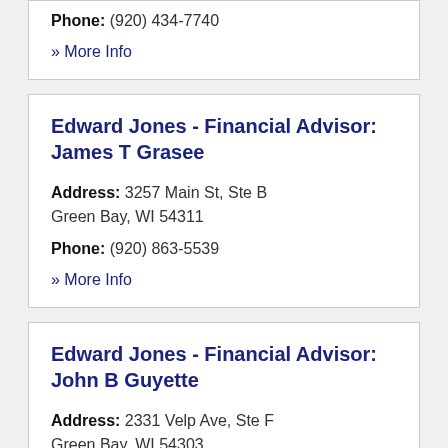Phone: (920) 434-7740
» More Info
Edward Jones - Financial Advisor: James T Grasee
Address: 3257 Main St, Ste B
Green Bay, WI 54311
Phone: (920) 863-5539
» More Info
Edward Jones - Financial Advisor: John B Guyette
Address: 2331 Velp Ave, Ste F
Green Bay, WI 54303